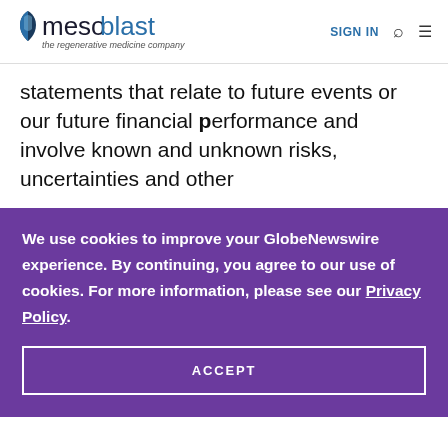mesoblast — the regenerative medicine company | SIGN IN
statements that relate to future events or our future financial performance and involve known and unknown risks, uncertainties and other
We use cookies to improve your GlobeNewswire experience. By continuing, you agree to our use of cookies. For more information, please see our Privacy Policy.